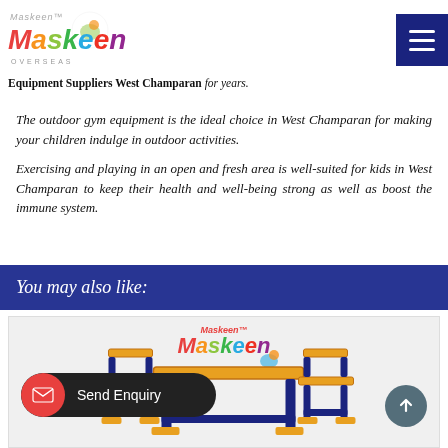Maskeen logo and navigation
Due to our regular and consistent supply of valuable products, we are amongst the most desirable Outdoor Gym Equipment Suppliers West Champaran for years.
The outdoor gym equipment is the ideal choice in West Champaran for making your children indulge in outdoor activities.
Exercising and playing in an open and fresh area is well-suited for kids in West Champaran to keep their health and well-being strong as well as boost the immune system.
You may also like:
[Figure (photo): Maskeen branded children's wooden table and chair set in navy blue and yellow/natural wood finish. Send Enquiry button visible at bottom left. Scroll-up button at bottom right.]